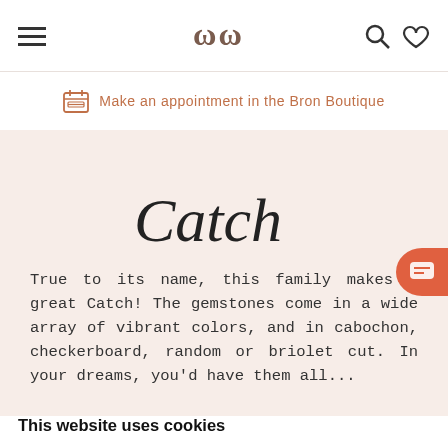≡  www  🔍 ♡
Make an appointment in the Bron Boutique
Catch
True to its name, this family makes a great Catch! The gemstones come in a wide array of vibrant colors, and in cabochon, checkerboard, random or briolet cut. In your dreams, you'd have them all...
This website uses cookies
We use cookies to personalise content and ads, to provide social media features and to analyze our traffic. We also share information about your use of our site with our social